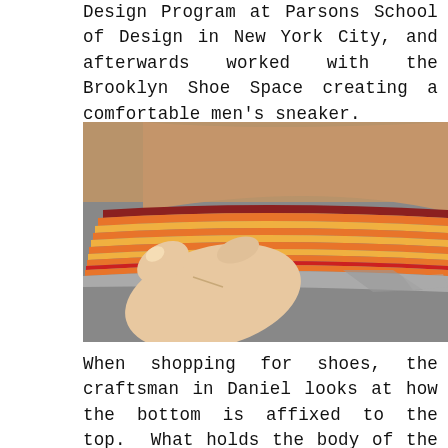Design Program at Parsons School of Design in New York City, and afterwards worked with the Brooklyn Shoe Space creating a comfortable men's sneaker.
[Figure (photo): A hand holding the side sole of a sneaker, showing layered sole construction with alternating orange, yellow, and red layers.]
When shopping for shoes, the craftsman in Daniel looks at how the bottom is affixed to the top. What holds the body of the shoe to its sole? Is the upper part fastened to the bottom inside the shoe with a Blake Stitch? or a Goodyear stitch? Or is there exterior welting to bind them together? Or were the shoes simply cemented together? as above, Daniel showed us